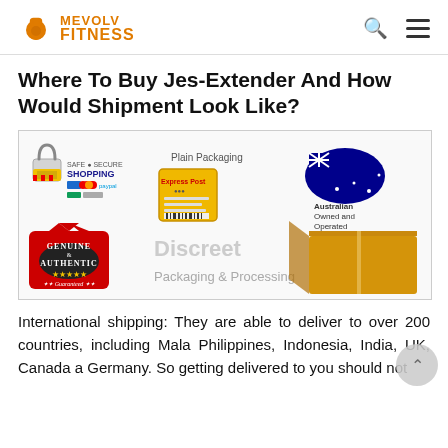MEVOLV FITNESS
Where To Buy Jes-Extender And How Would Shipment Look Like?
[Figure (infographic): Shipping and packaging infographic showing: Safe & Secure Shopping, Plain Packaging (Express Post bag), Australian Owned and Operated, Genuine & Authentic badge, Discreet Packaging & Processing with cardboard box]
International shipping: They are able to deliver to over 200 countries, including Malaysia, Philippines, Indonesia, India, UK, Canada and Germany. So getting delivered to you should not